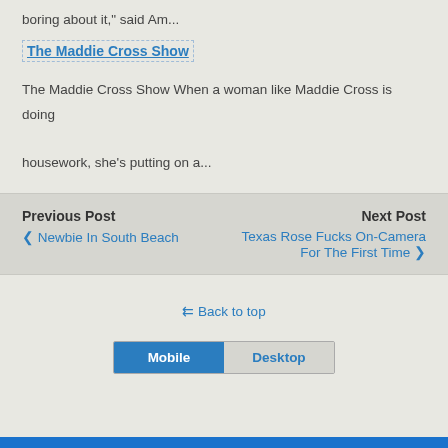boring about it," said Am...
The Maddie Cross Show
The Maddie Cross Show When a woman like Maddie Cross is doing housework, she's putting on a...
Previous Post
‹ Newbie In South Beach
Next Post
Texas Rose Fucks On-Camera For The First Time ›
⇈ Back to top
Mobile  Desktop